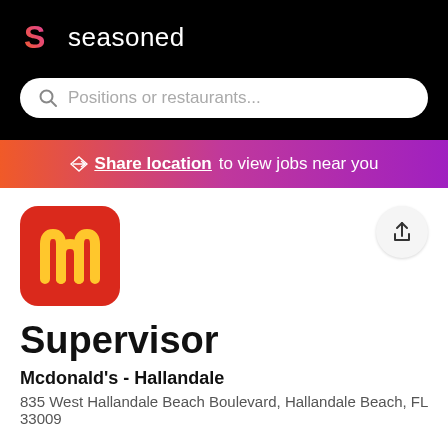seasoned
Positions or restaurants...
Share location to view jobs near you
[Figure (logo): McDonald's red rounded square logo with yellow arches]
Supervisor
Mcdonald's - Hallandale
835 West Hallandale Beach Boulevard, Hallandale Beach, FL 33009